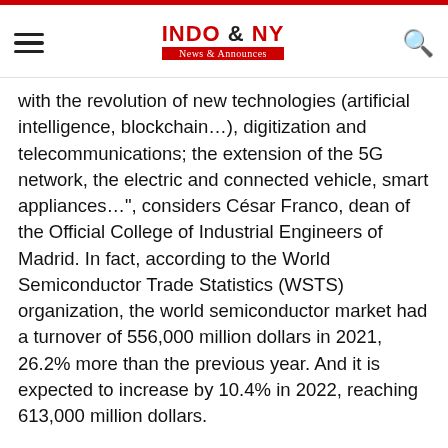INDO & NY News & Announces
with the revolution of new technologies (artificial intelligence, blockchain…), digitization and telecommunications; the extension of the 5G network, the electric and connected vehicle, smart appliances...", considers César Franco, dean of the Official College of Industrial Engineers of Madrid. In fact, according to the World Semiconductor Trade Statistics (WSTS) organization, the world semiconductor market had a turnover of 556,000 million dollars in 2021, 26.2% more than the previous year. And it is expected to increase by 10.4% in 2022, reaching 613,000 million dollars.
The more technology, the more need for microchips and semiconductors, which are all around us. To give an example: «In a car there are between 4,000 and